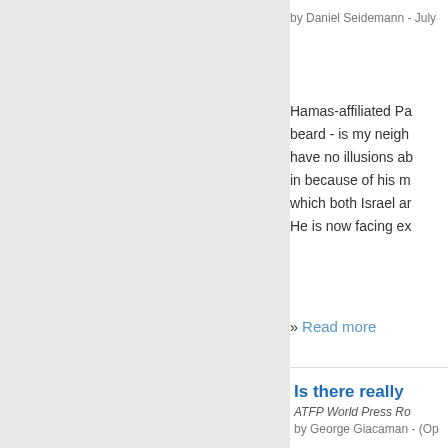by Daniel Seidemann - July
Hamas-affiliated Pa beard - is my neigh have no illusions ab in because of his m which both Israel ar He is now facing ex
» Read more
[Figure (illustration): Blue chevron/arrow graphic pointing right]
Is there really
ATFP World Press Ro
by George Giacaman - (Op
Syria and Israel neg negotiated indirectly